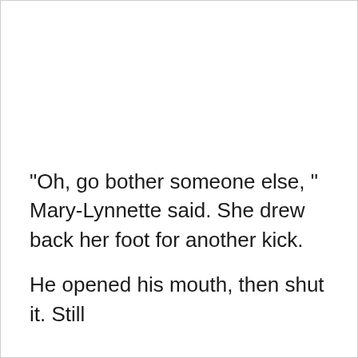"Oh, go bother someone else, " Mary-Lynnette said. She drew back her foot for another kick.

He opened his mouth, then shut it. Still